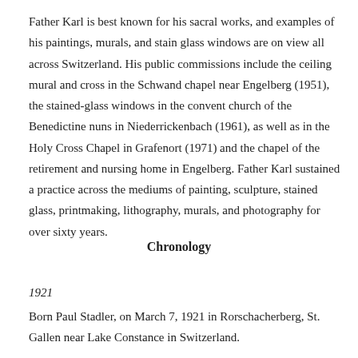Father Karl is best known for his sacral works, and examples of his paintings, murals, and stain glass windows are on view all across Switzerland. His public commissions include the ceiling mural and cross in the Schwand chapel near Engelberg (1951), the stained-glass windows in the convent church of the Benedictine nuns in Niederrickenbach (1961), as well as in the Holy Cross Chapel in Grafenort (1971) and the chapel of the retirement and nursing home in Engelberg. Father Karl sustained a practice across the mediums of painting, sculpture, stained glass, printmaking, lithography, murals, and photography for over sixty years.
Chronology
1921
Born Paul Stadler, on March 7, 1921 in Rorschacherberg, St. Gallen near Lake Constance in Switzerland.